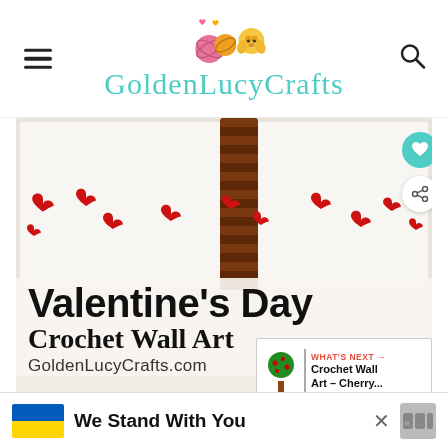GoldenLucyCrafts
[Figure (photo): Hero image showing crocheted red hearts scattered on a white surface with a brown crocheted column/tree trunk, overlaid with text: Valentine's Day Crochet Wall Art, GoldenLucyCrafts.com]
Valentine's Day
Crochet Wall Art
GoldenLucyCrafts.com
[Figure (infographic): WHAT'S NEXT → Crochet Wall Art – Cherry... with a decorative tree icon]
We Stand With You